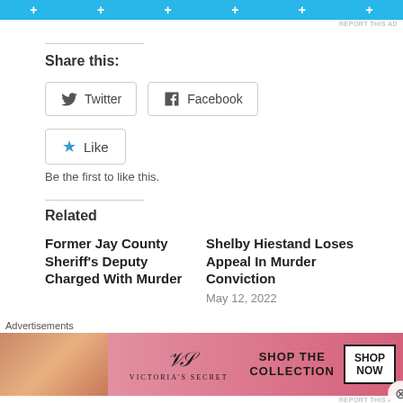[Figure (other): Blue advertisement banner with plus signs and 'REPORT THIS AD' text]
Share this:
[Figure (other): Twitter share button]
[Figure (other): Facebook share button]
[Figure (other): Like button with star icon]
Be the first to like this.
Related
Former Jay County Sheriff's Deputy Charged With Murder
Shelby Hiestand Loses Appeal In Murder Conviction
May 12, 2022
[Figure (other): Victoria's Secret advertisement banner with model, logo, SHOP THE COLLECTION text and SHOP NOW button]